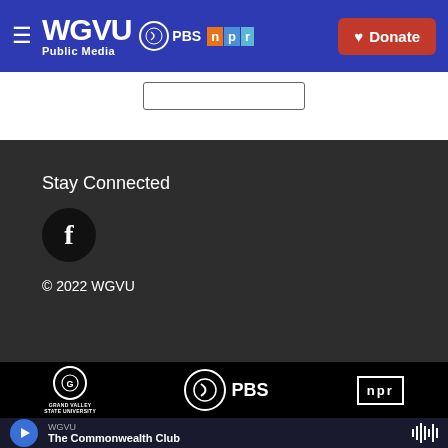WGVU Public Media | PBS | npr | Donate
[Figure (logo): WGVU Public Media logo with PBS and NPR logos, and a red Donate button on blue navigation bar]
Stay Connected
[Figure (logo): Facebook icon in black circle]
© 2022 WGVU
[Figure (logo): Grand Valley State University logo, PBS logo, and NPR logo in black footer bar]
WGVU | The Commonwealth Club